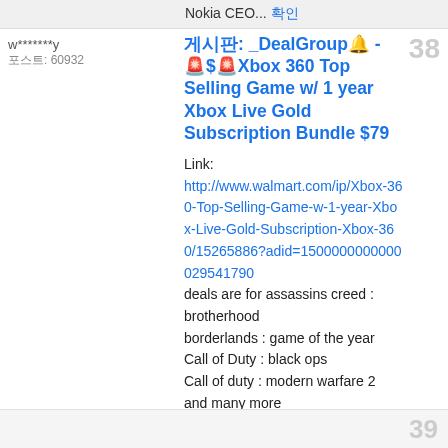Nokia CEO... 더보기
w*******y
포스트: 60932
38
게시판: _DealGroup🔔 - 🚨$🚨Xbox 360 Top Selling Game w/ 1 year Xbox Live Gold Subscription Bundle $79
Link:
http://www.walmart.com/ip/Xbox-360-Top-Selling-Game-w-1-year-Xbox-Live-Gold-Subscription-Xbox-360/15265886?adid=1500000000000029541790
deals are for assassins creed : brotherhood
borderlands : game of the year
Call of Duty : black ops
Call of duty : modern warfare 2
and many more
# Xbox 360 Top Selling Game w/ 1 year Xbox Live Gold Subscription Bundle
Includes: Choice of Top Selling Game
# Xbox live 12-Month Gold Card
Save Even More With Value Bundles! You get more for your money when you ... 더보기
39